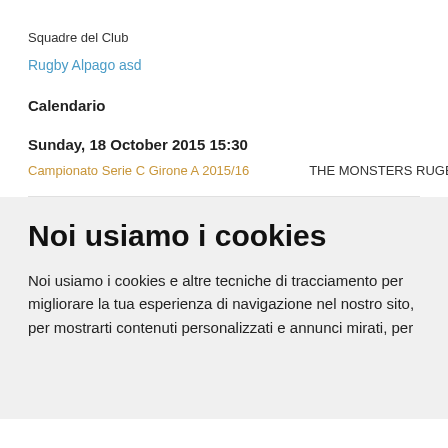Squadre del Club
Rugby Alpago asd
Calendario
Sunday, 18 October 2015 15:30
Campionato Serie C Girone A 2015/16   THE MONSTERS RUGBY   22   -
Noi usiamo i cookies
Noi usiamo i cookies e altre tecniche di tracciamento per migliorare la tua esperienza di navigazione nel nostro sito, per mostrarti contenuti personalizzati e annunci mirati, per